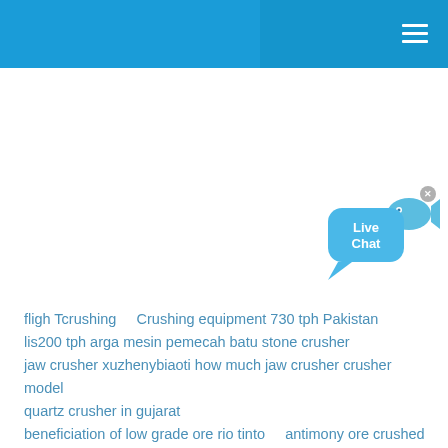[Figure (screenshot): Blue website header bar with hamburger menu icon on the right]
[Figure (illustration): Live Chat widget — blue speech bubble with 'Live Chat' text and a blue fish icon, with a close X button]
fligh Tcrushing    Crushing equipment 730 tph Pakistan  lis200 tph arga mesin pemecah batu stone crusher  jaw crusher xuzhenybiaoti how much jaw crusher crusher model  quartz crusher in gujarat  beneficiation of low grade ore rio tinto    antimony ore crushed  underground mining yrs    Botswana Mining crusher 280 tph  buy sea sand cone crusher plan Twith new process made in china  mb crusher video    Paraguay 525 tph Portable jaw crusher  series impac Tcrusherpf    industral applicatins of ball mill